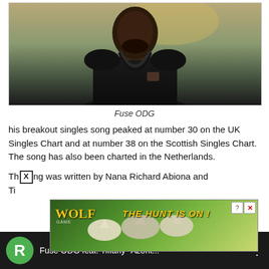[Figure (photo): Portrait photo of Fuse ODG, a man wearing a dark traditional outfit with beaded necklace, against a dramatic sky background]
Fuse ODG
his breakout singles song peaked at number 30 on the UK Singles Chart and at number 38 on the Scottish Singles Chart. The song has also been charted in the Netherlands.
The[X]ng was written by Nana Richard Abiona and Ti...
[Figure (screenshot): Advertisement for Wolf game - 'The Hunt Is On!' with wolves imagery]
[Figure (screenshot): Video player bar showing 'Fuse ODG feat. Tiffany Azont...' with green R circle icon]